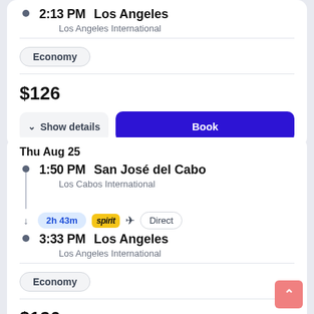2:13 PM   Los Angeles
Los Angeles International
Economy
$126
Show details
Book
Thu Aug 25
1:50 PM   San José del Cabo
Los Cabos International
2h 43m
spirit
Direct
3:33 PM   Los Angeles
Los Angeles International
Economy
$126